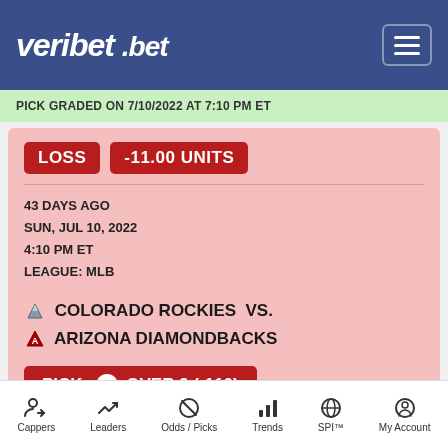veri.bet
PICK GRADED ON 7/10/2022 AT 7:10 PM ET
LOSS  -11.00 UNITS
43 DAYS AGO
SUN, JUL 10, 2022
4:10 PM ET
LEAGUE: MLB
COLORADO ROCKIES  VS.
ARIZONA DIAMONDBACKS
PICK: OVER 9 (-110)
Cappers  Leaders  Odds / Picks  Trends  SPI™  My Account